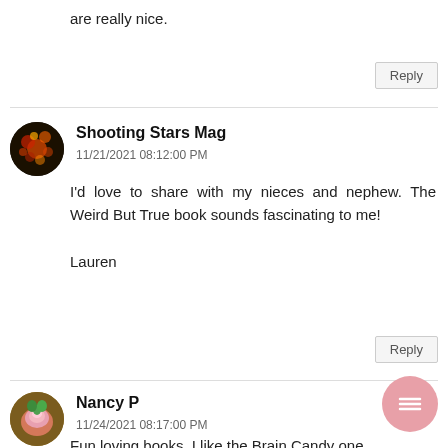are really nice.
Reply
Shooting Stars Mag
11/21/2021 08:12:00 PM
I'd love to share with my nieces and nephew. The Weird But True book sounds fascinating to me!

Lauren
Reply
Nancy P
11/24/2021 08:17:00 PM
Fun loving books. I like the Brain Candy one